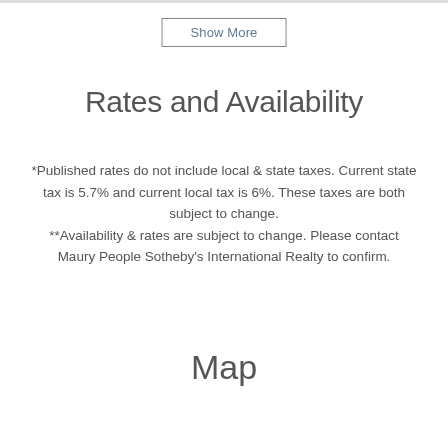Show More
Rates and Availability
*Published rates do not include local & state taxes. Current state tax is 5.7% and current local tax is 6%. These taxes are both subject to change.
**Availability & rates are subject to change. Please contact Maury People Sotheby's International Realty to confirm.
Map